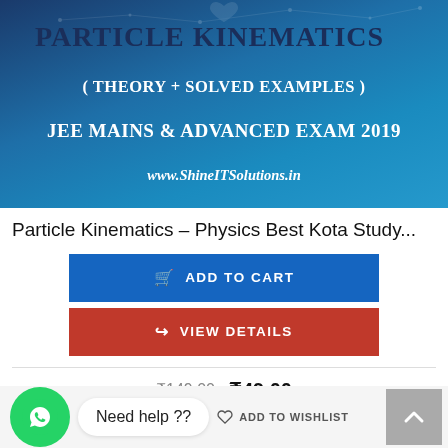[Figure (illustration): Book cover banner for 'Particle Kinematics (Theory + Solved Examples) JEE Mains & Advanced Exam 2019' from www.ShineITSolutions.in, with dark blue gradient background.]
Particle Kinematics – Physics Best Kota Study...
ADD TO CART
VIEW DETAILS
₹149.00  ₹49.00
Need help ??
ADD TO WISHLIST